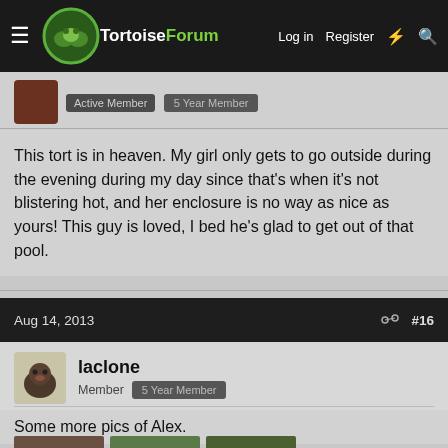TortoiseForum — Log in  Register
Active Member  5 Year Member
This tort is in heaven. My girl only gets to go outside during the evening during my day since that's when it's not blistering hot, and her enclosure is no way as nice as yours! This guy is loved, I bed he's glad to get out of that pool.
Aug 14, 2013  #16
laclone
Member  5 Year Member
Some more pics of Alex.
[Figure (photo): Three thumbnail photos of a tortoise named Alex outdoors]
[Figure (other): Hefty Slider CLOSE WITH CONFIDENCE advertisement banner]